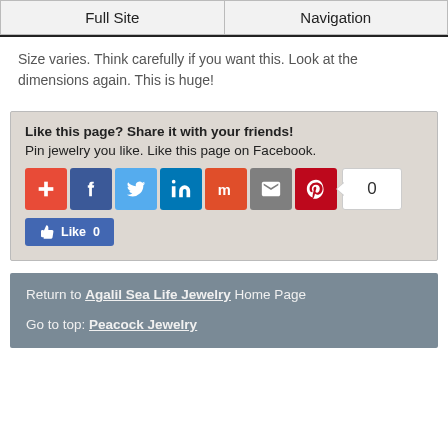Full Site | Navigation
Size varies. Think carefully if you want this. Look at the dimensions again. This is huge!
[Figure (infographic): Social sharing widget box with text 'Like this page? Share it with your friends! Pin jewelry you like. Like this page on Facebook.' followed by social media share buttons (AddThis, Facebook, Twitter, LinkedIn, Mix, Email, Pinterest) with a count of 0, and a Facebook Like button showing 0 likes.]
Return to Agalil Sea Life Jewelry Home Page
Go to top: Peacock Jewelry